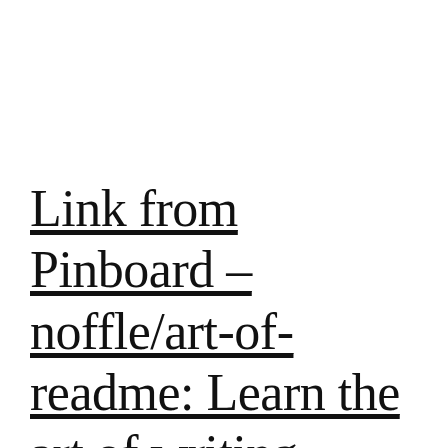Link from Pinboard – noffle/art-of-readme: Learn the art of writing quality READMEs.